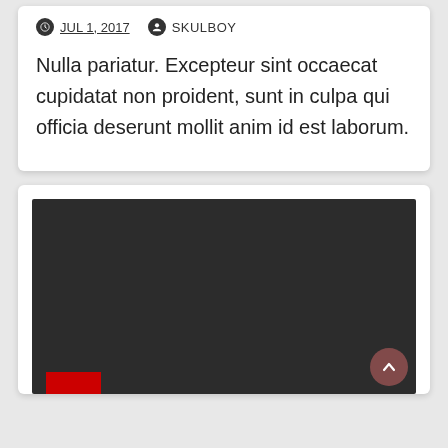JUL 1, 2017   SKULBOY
Nulla pariatur. Excepteur sint occaecat cupidatat non proident, sunt in culpa qui officia deserunt mollit anim id est laborum.
[Figure (screenshot): Dark background panel with a red bar element at the bottom left and a pink/red circular scroll-to-top button at the bottom right]